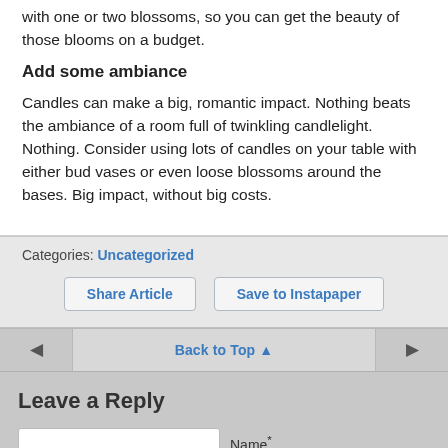with one or two blossoms, so you can get the beauty of those blooms on a budget.
Add some ambiance
Candles can make a big, romantic impact. Nothing beats the ambiance of a room full of twinkling candlelight. Nothing. Consider using lots of candles on your table with either bud vases or even loose blossoms around the bases. Big impact, without big costs.
Categories: Uncategorized
Share Article | Save to Instapaper
Back to Top ▲
Leave a Reply
Name*